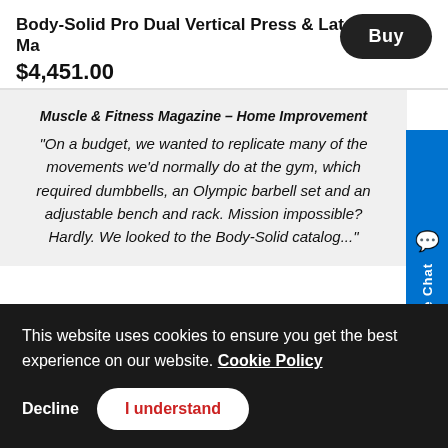Body-Solid Pro Dual Vertical Press & Lat Machine
$4,451.00
Buy
Muscle & Fitness Magazine – Home Improvement
"On a budget, we wanted to replicate many of the movements we'd normally do at the gym, which required dumbbells, an Olympic barbell set and an adjustable bench and rack. Mission impossible? Hardly. We looked to the Body-Solid catalog..."
REVIEWS
Live Chat
This website uses cookies to ensure you get the best experience on our website. Cookie Policy
Decline
I understand